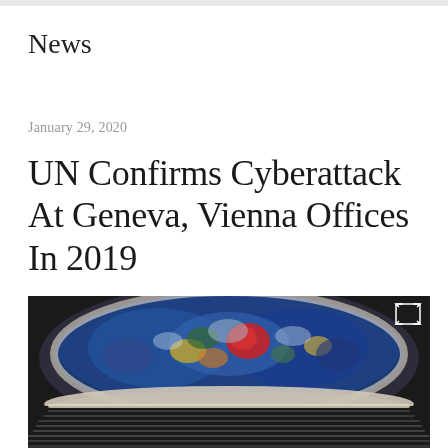News
January 29, 2020
UN Confirms Cyberattack At Geneva, Vienna Offices In 2019
[Figure (photo): Interior photo of the UN Human Rights Council chamber in Geneva, showing the large colorful oval ceiling mural with abstract figures, and the circular assembly hall below with rows of delegate seats.]